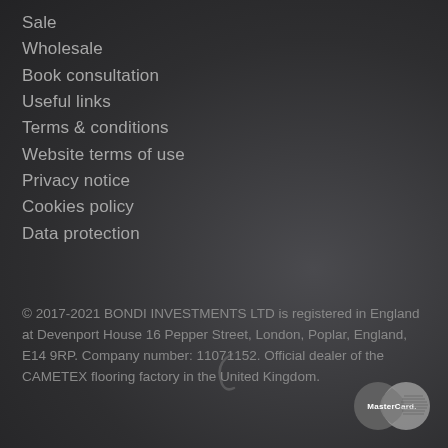Sale
Wholesale
Book consultation
Useful links
Terms & conditions
Website terms of use
Privacy notice
Cookies policy
Data protection
© 2017-2021 BONDI INVESTMENTS LTD is registered in England at Devenport House 16 Pepper Street, London, Poplar, England, E14 9RP. Company number: 11071152. Official dealer of the CAMETEX flooring factory in the United Kingdom.
[Figure (logo): MasterCard logo — two overlapping circles (one darker, one lighter grey) with MasterCard. wordmark]